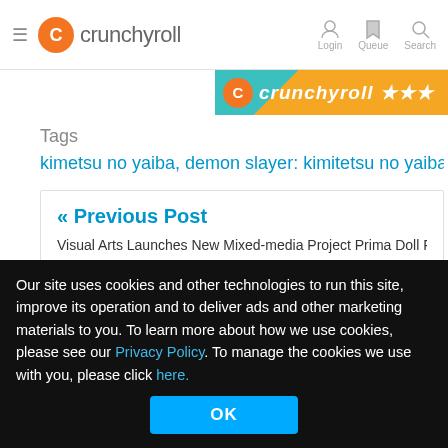crunchyroll — Login | Queue | Search
[Figure (screenshot): Crunchyroll banner advertisement strip in orange with crunchyroll logo and text]
Tags
kimetsu no yaiba, demon slayer: kimitetsu no yaiba
« Previous Post
Visual Arts Launches New Mixed-media Project Prima Doll Featuring Automata Gir
Other Top News
[Figure (illustration): Anime character card 1 - bat-eared character on yellow background]
[Figure (illustration): Anime character card 2 - bald character on teal background]
Our site uses cookies and other technologies to run this site, improve its operation and to deliver ads and other marketing materials to you. To learn more about how we use cookies, please see our Privacy Policy. To manage the cookies we use with you, please click here.
OK